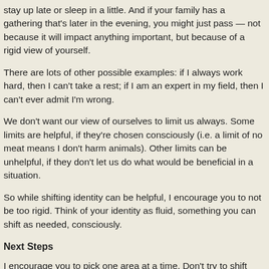stay up late or sleep in a little. And if your family has a gathering that's later in the evening, you might just pass — not because it will impact anything important, but because of a rigid view of yourself.
There are lots of other possible examples: if I always work hard, then I can't take a rest; if I am an expert in my field, then I can't ever admit I'm wrong.
We don't want our view of ourselves to limit us always. Some limits are helpful, if they're chosen consciously (i.e. a limit of no meat means I don't harm animals). Other limits can be unhelpful, if they don't let us do what would be beneficial in a situation.
So while shifting identity can be helpful, I encourage you to not be too rigid. Think of your identity as fluid, something you can shift as needed, consciously.
Next Steps
I encourage you to pick one area at a time. Don't try to shift